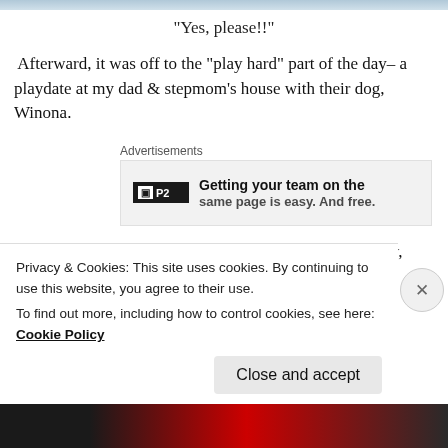“Yes, please!!”
Afterward, it was off to the “play hard” part of the day– a playdate at my dad & stepmom’s house with their dog, Winona.
Advertisements
[Figure (screenshot): Advertisement banner for P2 showing 'Getting your team on the same page is easy. And free.']
Unfortunately, Winona is pretty anti-social.  Fortunately, Sunny is pretty anti-unhappiness.  After meeting teach...
Privacy & Cookies: This site uses cookies. By continuing to use this website, you agree to their use.
To find out more, including how to control cookies, see here: Cookie Policy
Close and accept